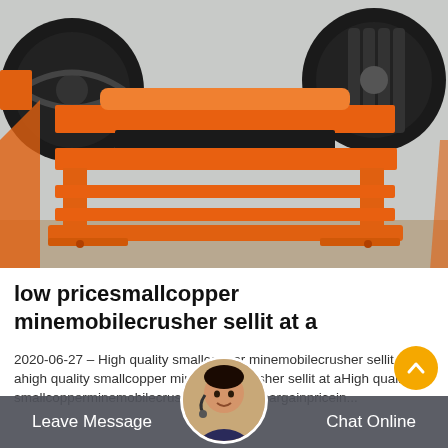[Figure (photo): Orange industrial jaw crusher / mobile crusher machine photographed outdoors, showing large flywheels, conveyor mechanism, and multi-level orange metal frame structure on a concrete surface.]
low pricesmallcopper minemobilecrusher sellit at a
2020-06-27 - High quality smallcopper minemobilecrusher sellit at ahigh quality smallcopper minemobilecrusher sellit at aHigh quality smallcopperminemobilecrusher sellit at a bargainpricein...
Leave Message   Chat Online